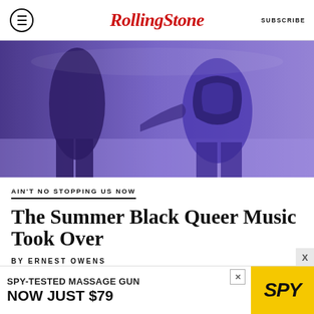Rolling Stone | SUBSCRIBE
[Figure (photo): Blue-tinted photo of two performers on stage in dark/leather outfits]
AIN'T NO STOPPING US NOW
The Summer Black Queer Music Took Over
BY ERNEST OWENS
▼ READ MORE ▼
[Figure (screenshot): Advertisement banner: SPY-TESTED MASSAGE GUN NOW JUST $79 with SPY logo on yellow background]